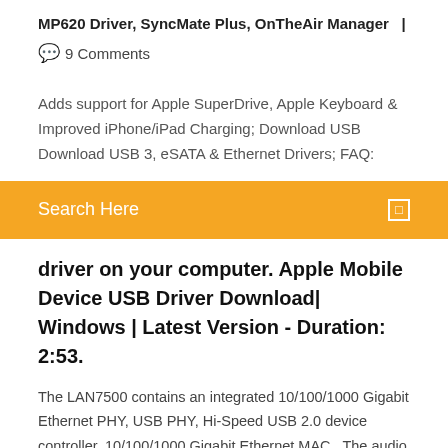MP620 Driver, SyncMate Plus, OnTheAir Manager  |
💬  9 Comments
Adds support for Apple SuperDrive, Apple Keyboard & Improved iPhone/iPad Charging; Download USB Download USB 3, eSATA & Ethernet Drivers; FAQ:
Search Here
driver on your computer. Apple Mobile Device USB Driver Download| Windows | Latest Version - Duration: 2:53.
The LAN7500 contains an integrated 10/100/1000 Gigabit Ethernet PHY, USB PHY, Hi-Speed USB 2.0 device controller, 10/100/1000 Gigabit Ethernet MAC,  The audio and Ethernet support is provided by native macOS drivers from OS version 10.11. DisplayLink USB Graphics Software for Mac OS X and macOS. 11 Sep 2013 You can use a Macbook air USB-Ethernet adapter on a Windows 7 machine even though it wouldn't